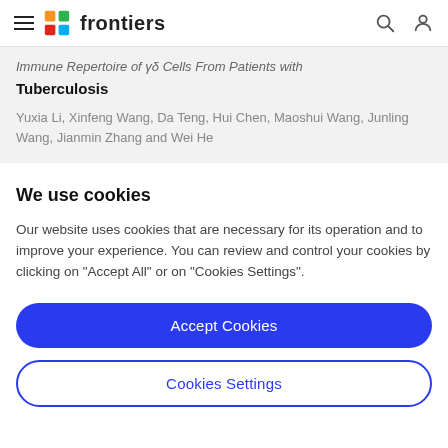frontiers
Immune Repertoire of γδ Cells From Patients with Tuberculosis
Yuxia Li, Xinfeng Wang, Da Teng, Hui Chen, Maoshui Wang, Junling Wang, Jianmin Zhang and Wei He
We use cookies
Our website uses cookies that are necessary for its operation and to improve your experience. You can review and control your cookies by clicking on "Accept All" or on "Cookies Settings".
Accept Cookies
Cookies Settings